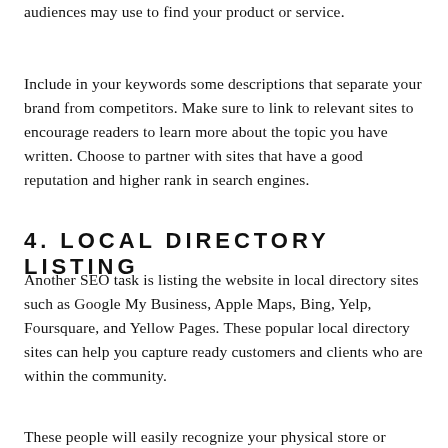audiences may use to find your product or service.
Include in your keywords some descriptions that separate your brand from competitors. Make sure to link to relevant sites to encourage readers to learn more about the topic you have written. Choose to partner with sites that have a good reputation and higher rank in search engines.
4. LOCAL DIRECTORY LISTING
Another SEO task is listing the website in local directory sites such as Google My Business, Apple Maps, Bing, Yelp, Foursquare, and Yellow Pages. These popular local directory sites can help you capture ready customers and clients who are within the community.
These people will easily recognize your physical store or